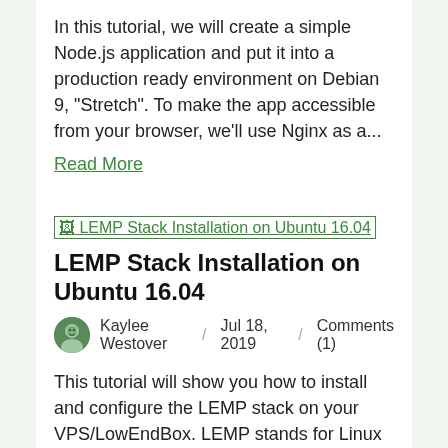In this tutorial, we will create a simple Node.js application and put it into a production ready environment on Debian 9, "Stretch". To make the app accessible from your browser, we'll use Nginx as a...
Read More
[Figure (other): Thumbnail image link for LEMP Stack Installation on Ubuntu 16.04 article]
LEMP Stack Installation on Ubuntu 16.04
Kaylee Westover  /  Jul 18, 2019  /  Comments (1)
This tutorial will show you how to install and configure the LEMP stack on your VPS/LowEndBox. LEMP stands for Linux Nginx MySQL PHP, and is a lightweight variation of the LAMP stack, which is...